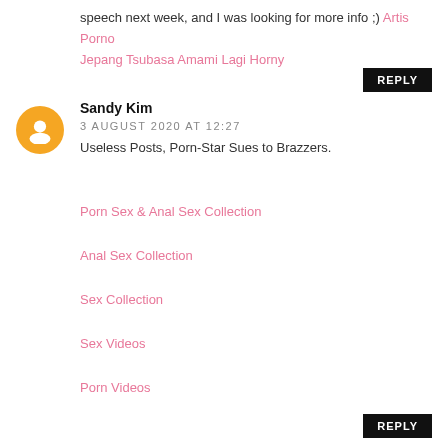speech next week, and I was looking for more info ;) Artis Porno Jepang Tsubasa Amami Lagi Horny
REPLY
Sandy Kim
3 AUGUST 2020 AT 12:27
Useless Posts, Porn-Star Sues to Brazzers.
Porn Sex & Anal Sex Collection
Anal Sex Collection
Sex Collection
Sex Videos
Porn Videos
REPLY